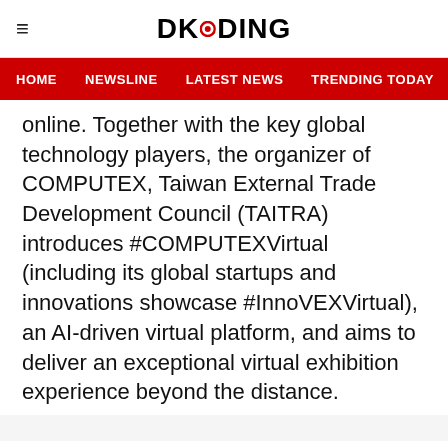DKODING
HOME  NEWSLINE  LATEST NEWS  TRENDING TODAY  ENT
online. Together with the key global technology players, the organizer of COMPUTEX, Taiwan External Trade Development Council (TAITRA) introduces #COMPUTEXVirtual (including its global startups and innovations showcase #InnoVEXVirtual), an AI-driven virtual platform, and aims to deliver an exceptional virtual exhibition experience beyond the distance.
About TAITRA: